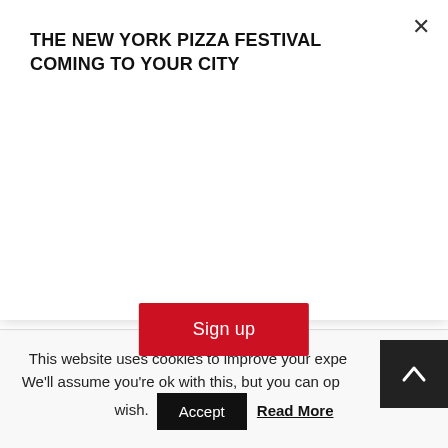THE NEW YORK PIZZA FESTIVAL COMING TO YOUR CITY
[Figure (other): Red 'Sign up' button for newsletter/event signup]
[Figure (logo): Circular stamp/logo with text 'ESTABLISHED 2004', partially cropped]
This website uses cookies to improve your experience. We'll assume you're ok with this, but you can opt-out if you wish. Accept Read More